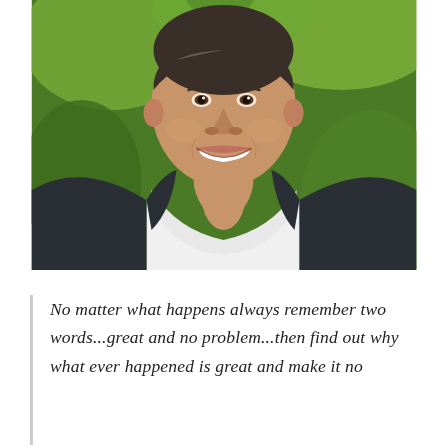[Figure (photo): Professional headshot of a middle-aged man with a big smile, wearing a dark blazer over a white open-collar shirt, set against a blurred green outdoor background.]
No matter what happens always remember two words...great and no problem...then find out why what ever happened is great and make it no